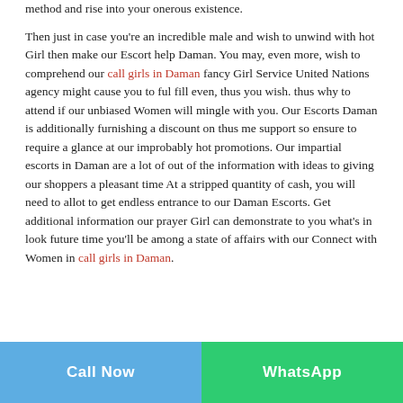method and rise into your onerous existence.

Then just in case you're an incredible male and wish to unwind with hot Girl then make our Escort help Daman. You may, even more, wish to comprehend our call girls in Daman fancy Girl Service United Nations agency might cause you to ful fill even, thus you wish. thus why to attend if our unbiased Women will mingle with you. Our Escorts Daman is additionally furnishing a discount on thus me support so ensure to require a glance at our improbably hot promotions. Our impartial escorts in Daman are a lot of out of the information with ideas to giving our shoppers a pleasant time At a stripped quantity of cash, you will need to allot to get endless entrance to our Daman Escorts. Get additional information our prayer Girl can demonstrate to you what's in look future time you'll be among a state of affairs with our Connect with Women in call girls in Daman.
Call Now
WhatsApp